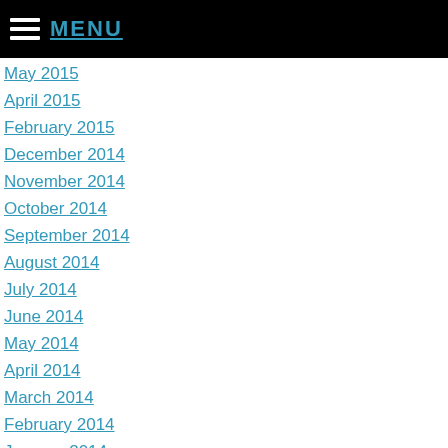MENU
May 2015
April 2015
February 2015
December 2014
November 2014
October 2014
September 2014
August 2014
July 2014
June 2014
May 2014
April 2014
March 2014
February 2014
January 2014
December 2013
November 2013
October 2013